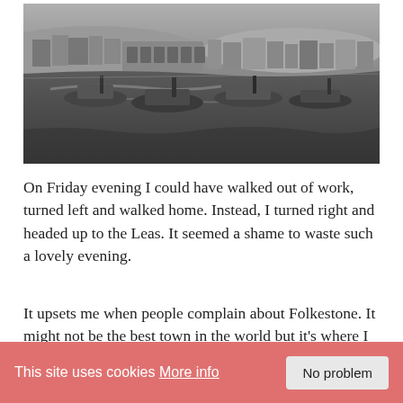[Figure (photo): Black and white panoramic photo of a harbour with boats resting on mudflats, buildings visible in the background, overcast sky]
On Friday evening I could have walked out of work, turned left and walked home. Instead, I turned right and headed up to the Leas. It seemed a shame to waste such a lovely evening.
It upsets me when people complain about Folkestone. It might not be the best town in the world but it's where I live and it definitely has a lot of positive points.
[Figure (photo): Photo with light blue sky showing part of a circular metallic arch structure, with watermark text RachelBirchley.com]
This site uses cookies More info  No problem